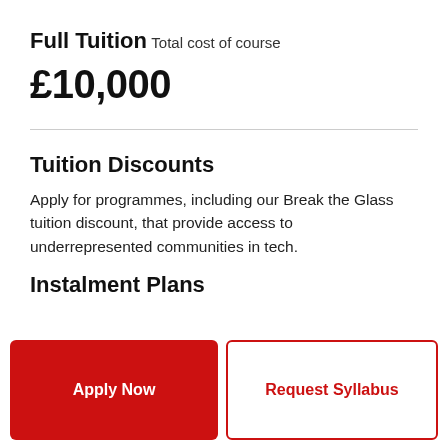Full Tuition
Total cost of course
£10,000
Tuition Discounts
Apply for programmes, including our Break the Glass tuition discount, that provide access to underrepresented communities in tech.
Instalment Plans
Apply Now
Request Syllabus